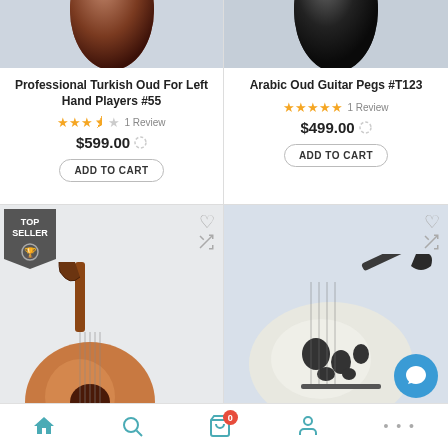[Figure (photo): Top half of a reddish-brown Turkish Oud instrument body on light blue-grey background]
[Figure (photo): Top half of a dark/black Arabic Oud instrument body on light blue-grey background]
Professional Turkish Oud For Left Hand Players #55
★★★½☆ 1 Review
$599.00
ADD TO CART
Arabic Oud Guitar Pegs #T123
★★★★★ 1 Review
$499.00
ADD TO CART
[Figure (photo): Bottom card left: Oud instrument leaning, with TOP SELLER badge, heart and shuffle icons]
[Figure (photo): Bottom card right: Blue/white Oud instrument body with sound holes, with heart and shuffle icons]
Home | Search | Cart (0) | Account | More